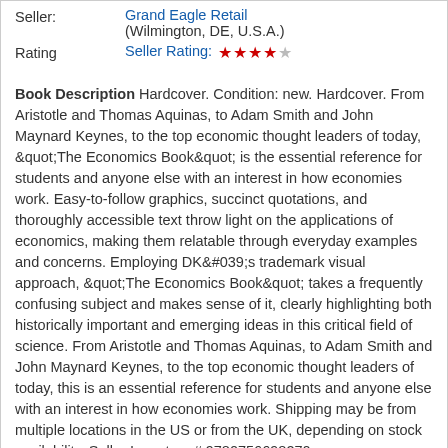| Field | Value |
| --- | --- |
| Seller: | Grand Eagle Retail
(Wilmington, DE, U.S.A.) |
| Rating | Seller Rating: ★★★★☆ |
Book Description Hardcover. Condition: new. Hardcover. From Aristotle and Thomas Aquinas, to Adam Smith and John Maynard Keynes, to the top economic thought leaders of today, &quot;The Economics Book&quot; is the essential reference for students and anyone else with an interest in how economies work. Easy-to-follow graphics, succinct quotations, and thoroughly accessible text throw light on the applications of economics, making them relatable through everyday examples and concerns. Employing DK&#039;s trademark visual approach, &quot;The Economics Book&quot; takes a frequently confusing subject and makes sense of it, clearly highlighting both historically important and emerging ideas in this critical field of science. From Aristotle and Thomas Aquinas, to Adam Smith and John Maynard Keynes, to the top economic thought leaders of today, this is an essential reference for students and anyone else with an interest in how economies work. Shipping may be from multiple locations in the US or from the UK, depending on stock availability. Seller Inventory # 9780756698270
More information about this seller | Contact this seller
Buy New
US$ 28.85